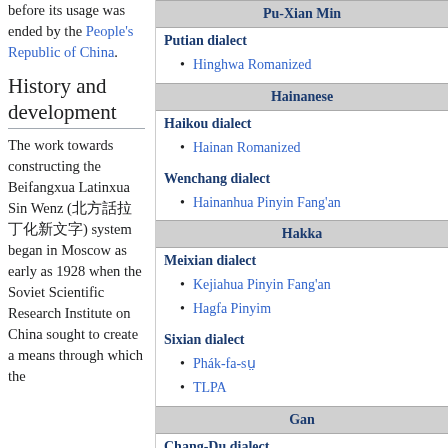before its usage was ended by the People's Republic of China.
History and development
The work towards constructing the Beifangxua Latinxua Sin Wenz (北方話拉丁化新文字) system began in Moscow as early as 1928 when the Soviet Scientific Research Institute on China sought to create a means through which the
| Pu-Xian Min |
| Putian dialect |
| Hinghwa Romanized |
| Hainanese |
| Haikou dialect |
| Hainan Romanized |
| Wenchang dialect |
| Hainanhua Pinyin Fang'an |
| Hakka |
| Meixian dialect |
| Kejiahua Pinyin Fang'an |
| Hagfa Pinyim |
| Sixian dialect |
| Phák-fa-sṳ |
| TLPA |
| Gan |
| Chang-Du dialect |
| Phák-oa-chhi |